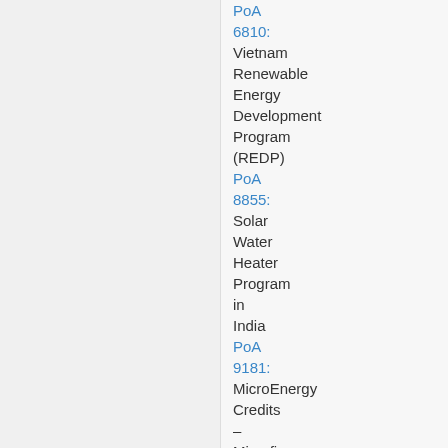PoA 6810: Vietnam Renewable Energy Development Program (REDP)
PoA 8855: Solar Water Heater Program in India
PoA 9181: MicroEnergy Credits – Microfinance for Clean Energy Product Lines – India
PoA 7359: PoA for